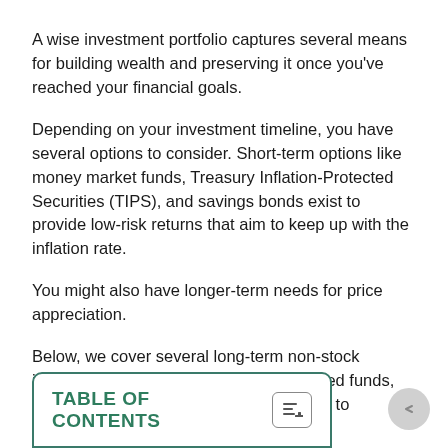A wise investment portfolio captures several means for building wealth and preserving it once you've reached your financial goals.
Depending on your investment timeline, you have several options to consider. Short-term options like money market funds, Treasury Inflation-Protected Securities (TIPS), and savings bonds exist to provide low-risk returns that aim to keep up with the inflation rate.
You might also have longer-term needs for price appreciation.
Below, we cover several long-term non-stock investments (meaning no exchange-traded funds, mutual funds or individual stocks) for you to consider.
TABLE OF CONTENTS